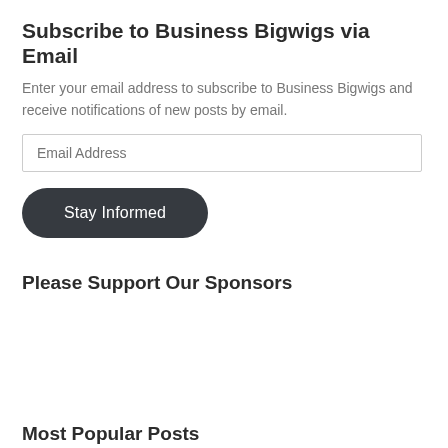Subscribe to Business Bigwigs via Email
Enter your email address to subscribe to Business Bigwigs and receive notifications of new posts by email.
Email Address
Stay Informed
Please Support Our Sponsors
Most Popular Posts
Future of Newspapers Unclear
UBS Teams Up with SigFig